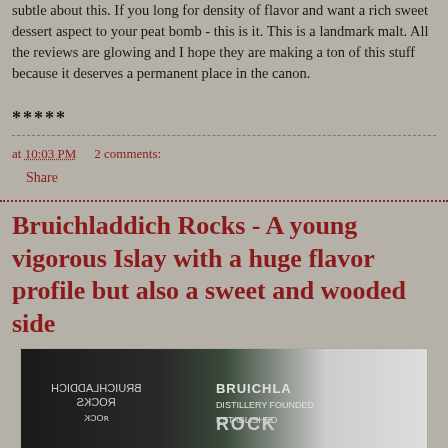subtle about this. If you long for density of flavor and want a rich sweet dessert aspect to your peat bomb - this is it. This is a landmark malt. All the reviews are glowing and I hope they are making a ton of this stuff because it deserves a permanent place in the canon.
*****
at 10:03 PM   2 comments:
Share
Bruichladdich Rocks - A young vigorous Islay with a huge flavor profile but also a sweet and wooded side
[Figure (photo): Photo of Bruichladdich Rocks whisky bottles — a dark bottle with reflected/mirrored label on the left and a green-labeled bottle in the center reading BRUICHLADDICH ROCKS, with plant/window visible on right]